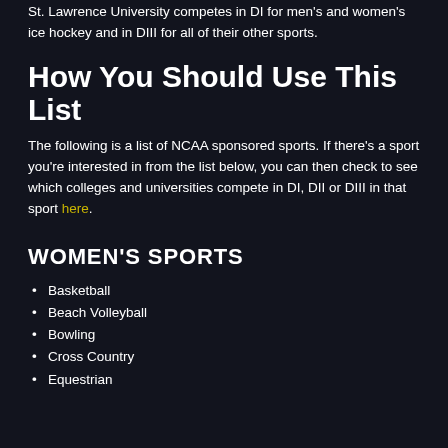St. Lawrence University competes in DI for men's and women's ice hockey and in DIII for all of their other sports.
How You Should Use This List
The following is a list of NCAA sponsored sports. If there's a sport you're interested in from the list below, you can then check to see which colleges and universities compete in DI, DII or DIII in that sport here.
WOMEN'S SPORTS
Basketball
Beach Volleyball
Bowling
Cross Country
Equestrian